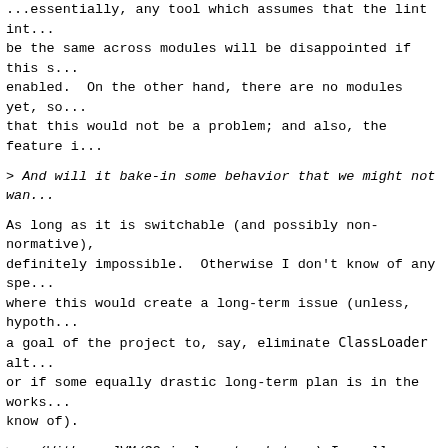...essentially, any tool which assumes that the lint int... be the same across modules will be disappointed if this s... enabled.  On the other hand, there are no modules yet, so... that this would not be a problem; and also, the feature i...
> And will it bake-in some behavior that we might not wa...
As long as it is switchable (and possibly non-normative),... definitely impossible.  Otherwise I don't know of any spe... where this would create a long-term issue (unless, hypothe... a goal of the project to, say, eliminate ClassLoader alto... or if some equally drastic long-term plan is in the works... know of).
> - (With my JVM/GC implementer hat on) I really don't th... > class loader per module is a great idea. There are over... > for each class loader you introduce (performance - the... > extra work per class loader, footprint - there are data... > maintained per class loader and space could be wasted o... > fragmentation in the meta space of each class loader).... > most of our services do not use custom class loaders an... > benefit out of that. It'd be a step backwards for us i... > got bloated with potentially 1,000s of class loaders.
It would be a tradeoff, for sure.  We don't see too much... derived from having many class loaders, but I agree that... that a large number of them might cause an issue.  I'm no... adding N class loaders on to N modules (which also have s... structures and classes associated with them) will create... increase though; it would have to be tested.  And of cour... switchable in the event that isolated package spaces are...